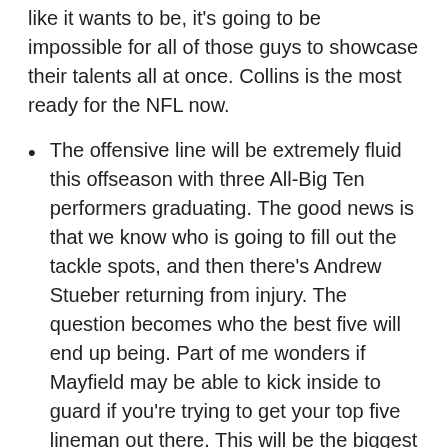like it wants to be, it's going to be impossible for all of those guys to showcase their talents all at once. Collins is the most ready for the NFL now.
The offensive line will be extremely fluid this offseason with three All-Big Ten performers graduating. The good news is that we know who is going to fill out the tackle spots, and then there's Andrew Stueber returning from injury. The question becomes who the best five will end up being. Part of me wonders if Mayfield may be able to kick inside to guard if you're trying to get your top five lineman out there. This will be the biggest non-quarterback storyline of the offseason.
Michigan fans weigh in on possible home-and-homes
On Thursday, we posted a story listing some hypothetical home-and-home matchups that